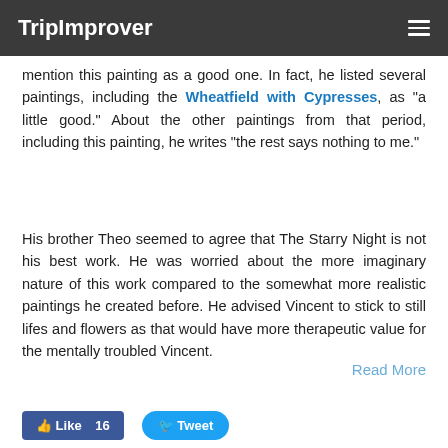TripImprover
mention this painting as a good one. In fact, he listed several paintings, including the Wheatfield with Cypresses, as "a little good." About the other paintings from that period, including this painting, he writes "the rest says nothing to me."
His brother Theo seemed to agree that The Starry Night is not his best work. He was worried about the more imaginary nature of this work compared to the somewhat more realistic paintings he created before. He advised Vincent to stick to still lifes and flowers as that would have more therapeutic value for the mentally troubled Vincent.
Read More